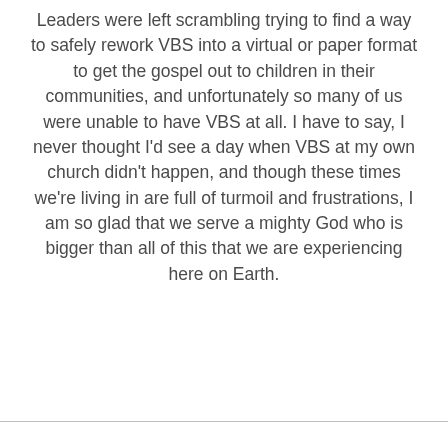Leaders were left scrambling trying to find a way to safely rework VBS into a virtual or paper format to get the gospel out to children in their communities, and unfortunately so many of us were unable to have VBS at all. I have to say, I never thought I'd see a day when VBS at my own church didn't happen, and though these times we're living in are full of turmoil and frustrations, I am so glad that we serve a mighty God who is bigger than all of this that we are experiencing here on Earth.